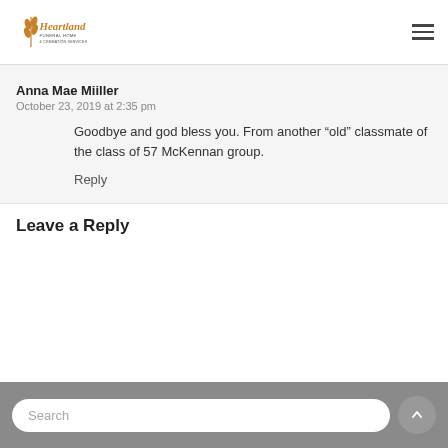Heartland Funeral Home & Cremation Services
Anna Mae Miiller
October 23, 2019 at 2:35 pm
Goodbye and god bless you. From another “old” classmate of the class of 57 McKennan group.
Reply
Leave a Reply